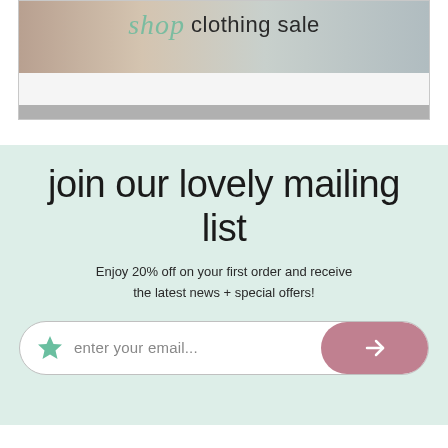[Figure (illustration): Top banner with a clothing sale image strip showing folded clothes and textiles, with cursive 'shop' text and 'clothing sale' label, and a gray bar at the bottom]
join our lovely mailing list
Enjoy 20% off on your first order and receive the latest news + special offers!
[Figure (other): Email signup form with star icon, 'enter your email...' placeholder, and a pink rounded submit button with arrow]